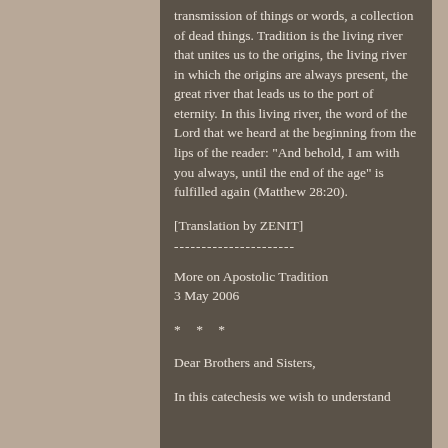transmission of things or words, a collection of dead things. Tradition is the living river that unites us to the origins, the living river in which the origins are always present, the great river that leads us to the port of eternity. In this living river, the word of the Lord that we heard at the beginning from the lips of the reader: "And behold, I am with you always, until the end of the age" is fulfilled again (Matthew 28:20).
[Translation by ZENIT]
----------------------
More on Apostolic Tradition
3 May 2006
* * *
Dear Brothers and Sisters,
In this catechesis we wish to understand